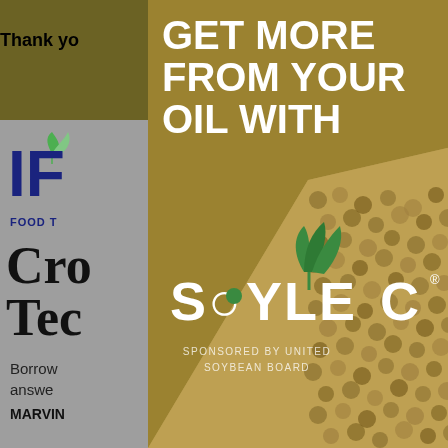[Figure (screenshot): Screenshot of a website page partially visible behind a modal advertisement overlay. The background shows a website with a dark olive/gold top bar with text 'Thank y...' and '...ools you', an 'IF' logo with a green leaf icon, navigation icons, 'FOOD T...' category label, a large serif heading starting with 'Cro... / Tec...', body text starting with 'Borrow... / answe...', author text 'MARVIN', and a dark blue 'Top' back-to-top button in the bottom right.]
[Figure (infographic): A modal advertisement overlay for 'Soyleic' product. Gold/olive colored background. White bold headline text: 'GET MORE FROM YOUR OUR OIL WITH'. Below headline is the Soyleic logo with a green plant/sprout icon above stylized text 'SOYLEIC' with a leaf replacing the letter T. Text at bottom reads 'SPONSORED BY UNITED SOYBEAN BOARD'. Right portion of the modal shows a photographic image of soybeans (close-up texture). A gray close button (X) is in the top right corner.]